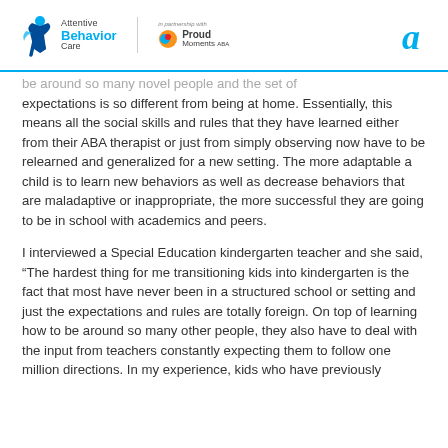Attentive Behavior Care | in partnership with Proud Moments ABA
be around so many novel people and the set of expectations is so different from being at home. Essentially, this means all the social skills and rules that they have learned either from their ABA therapist or just from simply observing now have to be relearned and generalized for a new setting. The more adaptable a child is to learn new behaviors as well as decrease behaviors that are maladaptive or inappropriate, the more successful they are going to be in school with academics and peers.
I interviewed a Special Education kindergarten teacher and she said, “The hardest thing for me transitioning kids into kindergarten is the fact that most have never been in a structured school or setting and just the expectations and rules are totally foreign. On top of learning how to be around so many other people, they also have to deal with the input from teachers constantly expecting them to follow one million directions. In my experience, kids who have previously received ABA therapy...